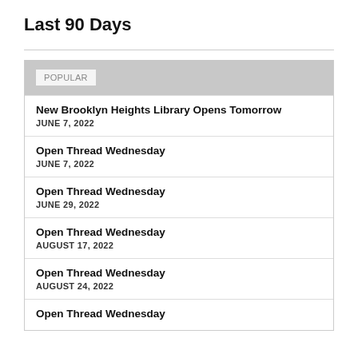Last 90 Days
New Brooklyn Heights Library Opens Tomorrow
JUNE 7, 2022
Open Thread Wednesday
JUNE 7, 2022
Open Thread Wednesday
JUNE 29, 2022
Open Thread Wednesday
AUGUST 17, 2022
Open Thread Wednesday
AUGUST 24, 2022
Open Thread Wednesday